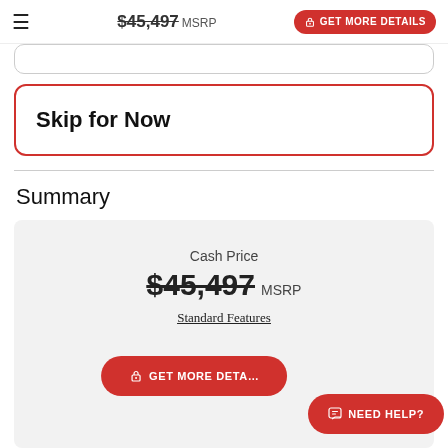$45,497 MSRP  GET MORE DETAILS
Skip for Now
Summary
Cash Price
$45,497 MSRP
Standard Features
GET MORE DETAILS
NEED HELP?